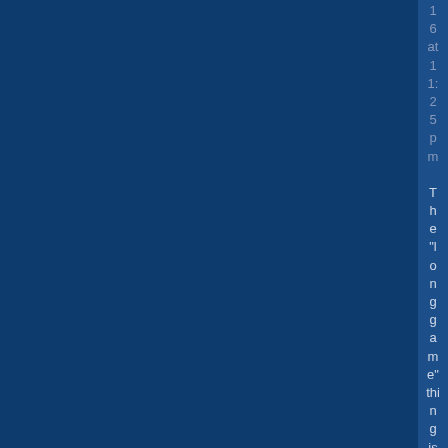16 at 11:25pm The "long game" thing is an nonsense...